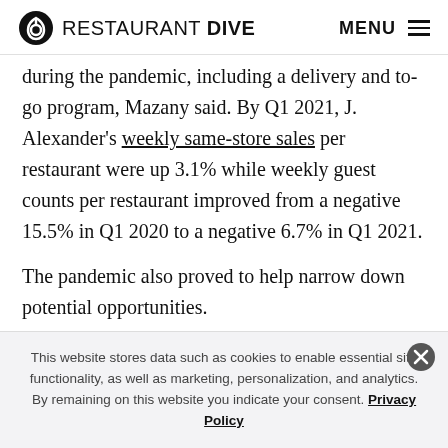RESTAURANT DIVE  MENU
during the pandemic, including a delivery and to-go program, Mazany said. By Q1 2021, J. Alexander's weekly same-store sales per restaurant were up 3.1% while weekly guest counts per restaurant improved from a negative 15.5% in Q1 2020 to a negative 6.7% in Q1 2021.
The pandemic also proved to help narrow down potential opportunities.
This website stores data such as cookies to enable essential site functionality, as well as marketing, personalization, and analytics. By remaining on this website you indicate your consent. Privacy Policy